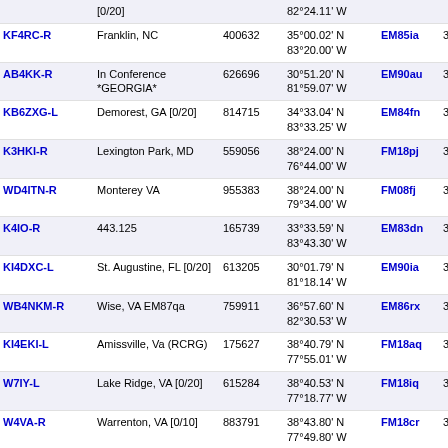| Callsign | Location | Node | Coordinates | Grid | Dist | Freq |
| --- | --- | --- | --- | --- | --- | --- |
| [0/20] |  |  | 82°24.11' W |  |  |  |
| KF4RC-R | Franklin, NC | 400632 | 35°00.02' N 83°20.00' W | EM85ia | 311.3 | 14 |
| AB4KK-R | In Conference *GEORGIA* | 626696 | 30°51.20' N 81°59.07' W | EM90au | 311.9 |  |
| KB6ZXG-L | Demorest, GA [0/20] | 814715 | 34°33.04' N 83°33.25' W | EM84fn | 318.5 |  |
| K3HKI-R | Lexington Park, MD | 559056 | 38°24.00' N 76°44.00' W | FM18pj | 320.0 | 14 |
| WD4ITN-R | Monterey VA | 955383 | 38°24.00' N 79°34.00' W | FM08fj | 323.0 | 14 |
| K4IO-R | 443.125 | 165739 | 33°33.59' N 83°43.30' W | EM83dn | 327.5 | 44 |
| KI4DXC-L | St. Augustine, FL [0/20] | 613205 | 30°01.79' N 81°18.14' W | EM90ia | 328.8 |  |
| WB4NKM-R | Wise, VA EM87qa | 759911 | 36°57.60' N 82°30.53' W | EM86rx | 329.0 | 14 |
| KI4EKI-L | Amissville, Va (RCRG) | 175627 | 38°40.79' N 77°55.01' W | FM18aq | 331.0 | 44 |
| W7IY-L | Lake Ridge, VA [0/20] | 615284 | 38°40.53' N 77°18.77' W | FM18iq | 333.1 | 14 |
| W4VA-R | Warrenton, VA [0/10] | 883791 | 38°43.80' N 77°49.80' W | FM18cr | 334.6 | 14 |
| WM4B-R | Kathleen, GA [0/5] | 292763 | 32°37.03' N 83°37.83' W | EM82eo | 335.1 | 14 |
| KO4PGF-L | Murrayville, GA [0/20] | 886858 | 34°25.20' N 83°54.30' W | EM84bk | 337.5 |  |